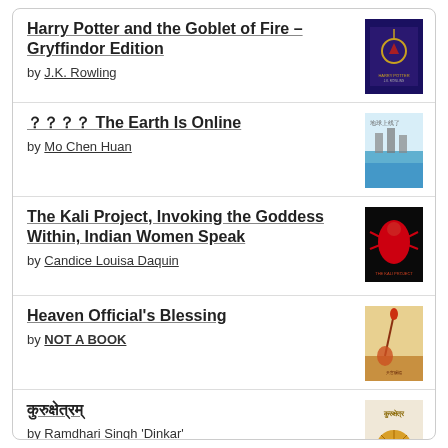Harry Potter and the Goblet of Fire – Gryffindor Edition by J.K. Rowling
？？？？ The Earth Is Online by Mo Chen Huan
The Kali Project, Invoking the Goddess Within, Indian Women Speak by Candice Louisa Daquin
Heaven Official's Blessing by NOT A BOOK
कुरुक्षेत्रम् by Ramdhari Singh 'Dinkar'
[Figure (logo): goodreads logo text at bottom of page]